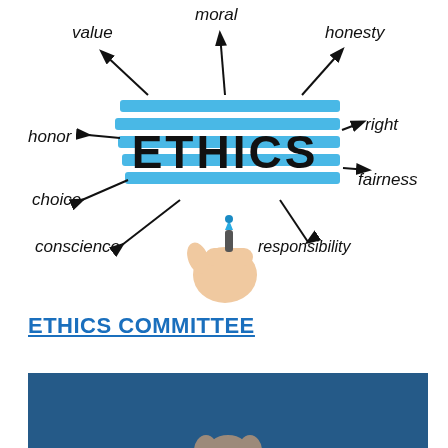[Figure (illustration): Ethics concept diagram showing a hand holding a blue marker, with 'ETHICS' written in large bold text on blue horizontal lines/highlights. Surrounding words connected by arrows: value, moral, honesty, honor, right, choice, fairness, conscience, responsibility.]
ETHICS COMMITTEE
[Figure (photo): Partial photo of a person (hand/fingers visible at bottom) against a dark blue background, cropped at the bottom of the page.]